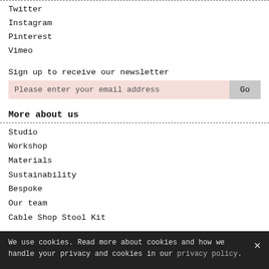Twitter
Instagram
Pinterest
Vimeo
Sign up to receive our newsletter
Please enter your email address   Go
More about us
Studio
Workshop
Materials
Sustainability
Bespoke
Our team
Cable Shop Stool Kit
T&C
Understanding wood
Buying from us
Deliveries
Privacy policy
We use cookies. Read more about cookies and how we handle your privacy and cookies in our privacy policy.